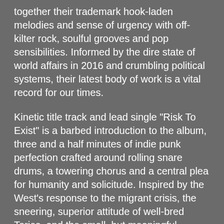together their trademark hook-laden melodies and sense of urgency with off-kilter rock, soulful grooves and pop sensibilities. Informed by the dire state of world affairs in 2016 and crumbling political systems, their latest body of work is a vital record for our times.
Kinetic title track and lead single "Risk To Exist" is a barbed introduction to the album, three and a half minutes of indie punk perfection crafted around rolling snare drums, a towering chorus and a central plea for humanity and solicitude. Inspired by the West's response to the migrant crisis, the sneering, superior attitude of well-bred Tories, and the small, but meaningful gestures of love that reaffirm what is good in this world, it is a cry for compassion, and simply frames the precariousness of life in its refrain - 'Throw your arms around me / I've come too far and the ocean's deep".
Frontman Paul Smith says: ‘The album is, ultimately, about empathy. Some songs are simple messages of solidarity and others are fueled by anger at the elitist, established order of British society. There's a questioning of power throughout and a feeling that there must be a different way of structuring